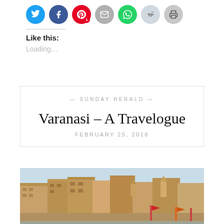[Figure (other): Social sharing buttons row: Twitter (blue), Facebook (blue), Pinterest (red, badge 1), Email (grey), WhatsApp (green), Reddit (light grey), Print (grey)]
Like this:
Loading...
— SUNDAY HERALD —
Varanasi – A Travelogue
FEBRUARY 25, 2018
[Figure (photo): Photograph of the Varanasi ghats showing multi-storey colourful buildings along the riverbank with temple spires and colourful flags visible]